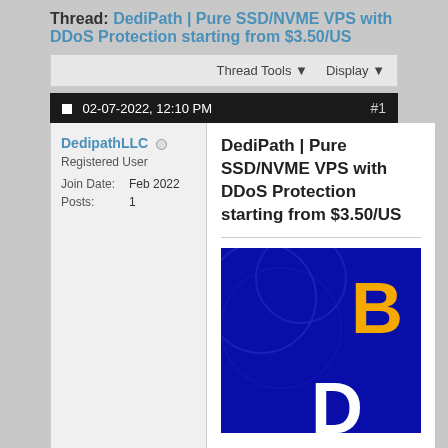Thread: DediPath | Pure SSD/NVME VPS with DDoS Protection starting from $3.50/US
Thread Tools ▾   Display ▾
02-07-2022, 12:10 PM   #1
DedipathLLC
Registered User
Join Date: Feb 2022
Posts: 1
DediPath | Pure SSD/NVME VPS with DDoS Protection starting from $3.50/US
[Figure (photo): Dark blue background promotional image with orange and white text showing 'B' and 'D' letters visible, partial DediPath logo/banner]